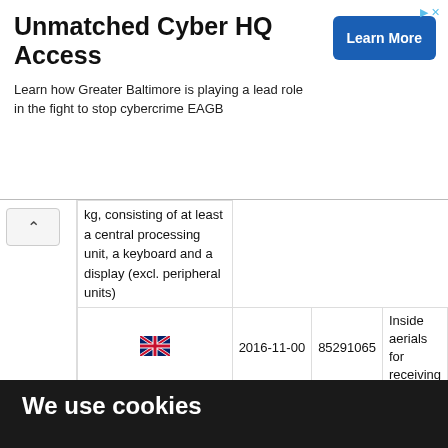[Figure (screenshot): Advertisement banner for 'Unmatched Cyber HQ Access' promoting Greater Baltimore's role in cybercrime prevention (EAGB), with a 'Learn More' button and small ad icon in top-right corner.]
| [UK Flag] | 2016-11-00 | 85291065 | Inside aerials for receiving... |
|  |  |  | kg, consisting of at least a central processing unit, a keyboard and a display (excl. peripheral units) |
We use cookies
We use cookies and other tracking technologies to improve your browsing experience on our website, to show you personalized content and targeted ads, to analyze our website traffic, and